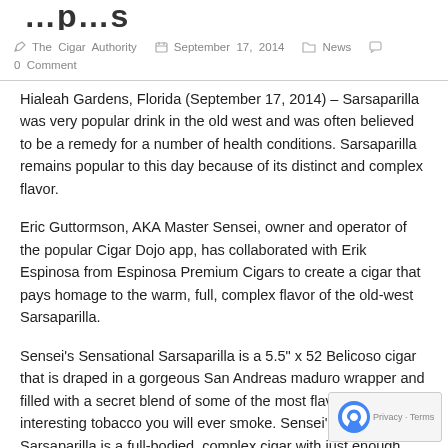…p…s (title partial)
The Cigar Authority   September 17, 2014   News   0 Comment
Hialeah Gardens, Florida (September 17, 2014) – Sarsaparilla was very popular drink in the old west and was often believed to be a remedy for a number of health conditions. Sarsaparilla remains popular to this day because of its distinct and complex flavor.
Eric Guttormson, AKA Master Sensei, owner and operator of the popular Cigar Dojo app, has collaborated with Erik Espinosa from Espinosa Premium Cigars to create a cigar that pays homage to the warm, full, complex flavor of the old-west Sarsaparilla.
Sensei's Sensational Sarsaparilla is a 5.5" x 52 Belicoso cigar that is draped in a gorgeous San Andreas maduro wrapper and filled with a secret blend of some of the most flavorful and interesting tobacco you will ever smoke. Sensei's Sensational Sarsaparilla is a full-bodied, complex cigar with just enough strength to balance the intense flavors.
“We wanted to come up with a cigar that had a unique flavor. We wanted a cigar that took the cigar smoker through a journey from start to finish. We wanted a cigar that evolves as you smoke it", stated Sensei.